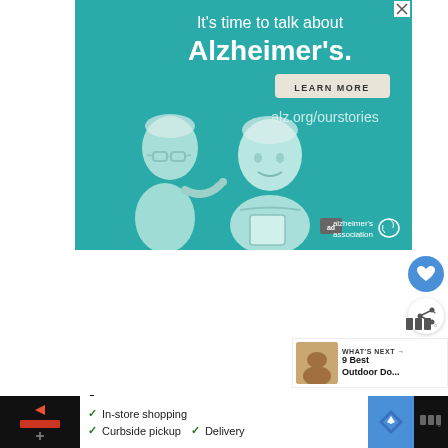[Figure (illustration): Alzheimer's Association advertisement banner on teal background. Shows illustrated elderly couple, with text 'It's time to talk about Alzheimer's.' and a 'LEARN MORE' button and 'alz.org/ourstories' URL. Alzheimer's association logo at bottom right.]
WHAT'S NEXT → 9 Best Outdoor Do...
Panel Heater
[Figure (screenshot): Bottom advertisement bar showing shopping options: In-store shopping, Curbside pickup, Delivery. Includes Sprout/play button icon and navigation/map icon.]